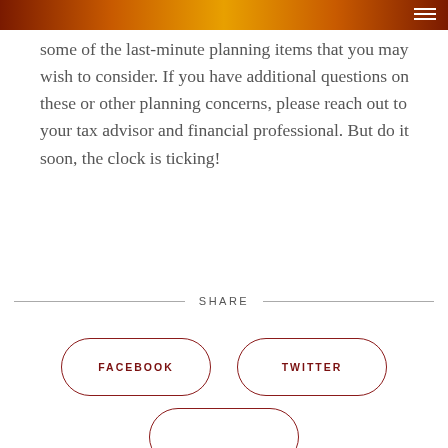some of the last-minute planning items that you may wish to consider. If you have additional questions on these or other planning concerns, please reach out to your tax advisor and financial professional. But do it soon, the clock is ticking!
SHARE
FACEBOOK
TWITTER